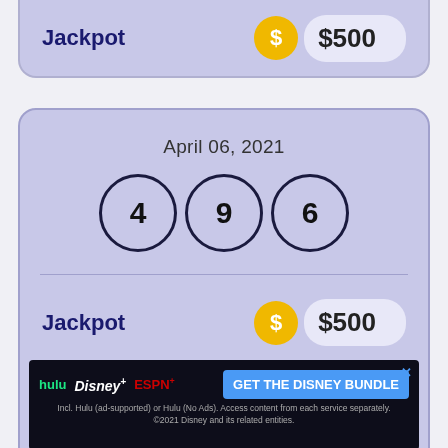Jackpot  $500
April 06, 2021
4  9  6
Jackpot  $500
[Figure (screenshot): Hulu Disney+ ESPN+ GET THE DISNEY BUNDLE advertisement banner. Incl. Hulu (ad-supported) or Hulu (No Ads). Access content from each service separately. ©2021 Disney and its related entities.]